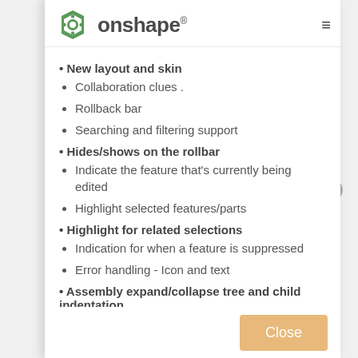collect information about how you interact with our website and allow us to remember you. We use this information in order to improve and customize your browsing experience and for analytics and metrics about our visitors both on this website and other media. To find out more about the cookies we use, visit our Privacy Center
[Figure (logo): Onshape hexagonal gear logo in green]
onshape®
New layout and skin
Collaboration clues
Rollback bar
Searching and filtering support
Hides/shows on the rollbar
Indicate the feature that's currently being edited
Highlight selected features/parts
Highlight for related selections
Indication for when a feature is suppressed
Error handling - Icon and text
Assembly expand/collapse tree and child indentation